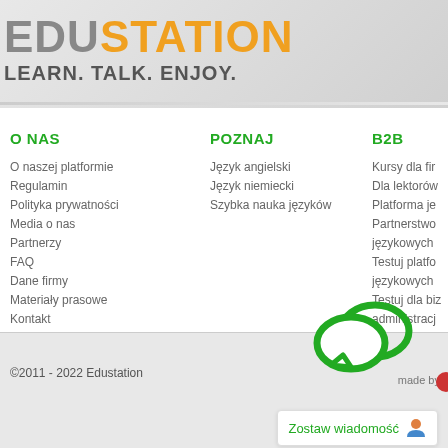EDUSTATION LEARN. TALK. ENJOY.
O NAS
O naszej platformie
Regulamin
Polityka prywatności
Media o nas
Partnerzy
FAQ
Dane firmy
Materiały prasowe
Kontakt
POZNAJ
Język angielski
Język niemiecki
Szybka nauka języków
B2B
Kursy dla fir
Dla lektorów
Platforma je
Partnerstwo językowych
Testuj platfo językowych
Testuj dla bi administracji
[Figure (illustration): Green speech bubble chat icon]
©2011 - 2022 Edustation
Zostaw wiadomość